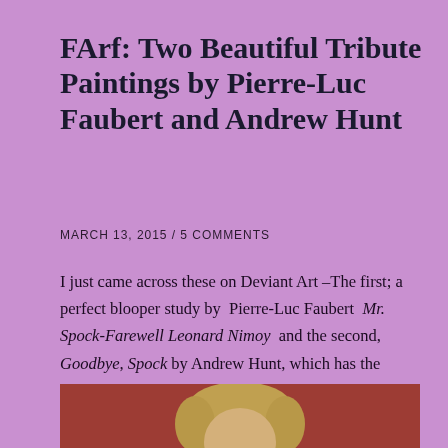FArf: Two Beautiful Tribute Paintings by Pierre-Luc Faubert and Andrew Hunt
MARCH 13, 2015 / 5 COMMENTS
I just came across these on Deviant Art –The first; a perfect blooper study by Pierre-Luc Faubert Mr. Spock-Farewell Leonard Nimoy and the second, Goodbye, Spock by Andrew Hunt, which has the mature Nimoy in the original uniform. These are both so beautiful, I'm sure Mr. Nimoy would have loved them. Excellent work by these two incredibly talented artists!
[Figure (photo): Partial photo of a person's head with blonde/light hair against a reddish-brown background, cropped at bottom of page]